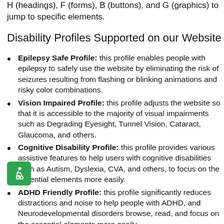H (headings), F (forms), B (buttons), and G (graphics) to jump to specific elements.
Disability Profiles Supported on our Website
Epilepsy Safe Profile: this profile enables people with epilepsy to safely use the website by eliminating the risk of seizures resulting from flashing or blinking animations and risky color combinations.
Vision Impaired Profile: this profile adjusts the website so that it is accessible to the majority of visual impairments such as Degrading Eyesight, Tunnel Vision, Cataract, Glaucoma, and others.
[Figure (illustration): Green accessibility icon showing a wheelchair user symbol]
Cognitive Disability Profile: this profile provides various assistive features to help users with cognitive disabilities such as Autism, Dyslexia, CVA, and others, to focus on the essential elements more easily.
ADHD Friendly Profile: this profile significantly reduces distractions and noise to help people with ADHD, and Neurodevelopmental disorders browse, read, and focus on the essential elements more easily.
Blind Users Profile (Screen-Readers): this profile adjusts the website to be compatible with screen-readers such as JAWS,